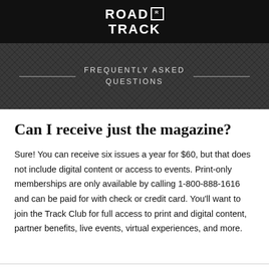ROAD & TRACK
FREQUENTLY ASKED QUESTIONS
Can I receive just the magazine?
Sure! You can receive six issues a year for $60, but that does not include digital content or access to events. Print-only memberships are only available by calling 1-800-888-1616 and can be paid for with check or credit card. You'll want to join the Track Club for full access to print and digital content, partner benefits, live events, virtual experiences, and more.